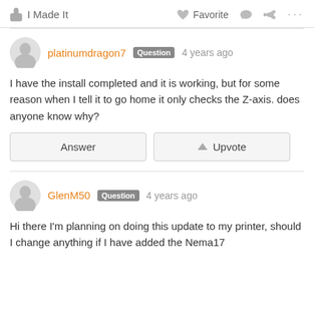I Made It   Favorite   ...
platinumdragon7 Question 4 years ago
I have the install completed and it is working, but for some reason when I tell it to go home it only checks the Z-axis. does anyone know why?
Answer   Upvote
GlenM50 Question 4 years ago
Hi there I'm planning on doing this update to my printer, should I change anything if I have added the Nema17